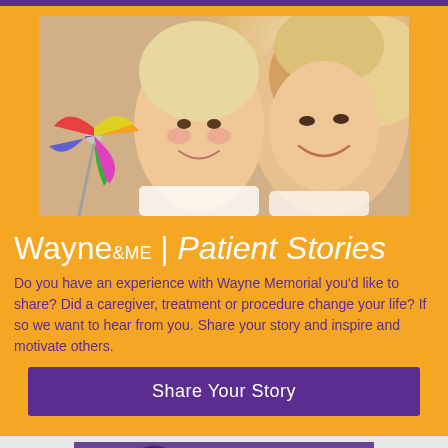[Figure (photo): A smiling young child holding a colorful pinwheel toy outdoors, with a smiling adult woman in the background. Bright sunny outdoor setting.]
Wayne&ME | Patient Stories
Do you have an experience with Wayne Memorial you'd like to share? Did a caregiver, treatment or procedure change your life? If so we want to hear from you. Share your story and inspire and motivate others.
Share Your Story
[Figure (photo): A person outdoors wearing a hat, with a Wayne Memorial sign partially visible on the right.]